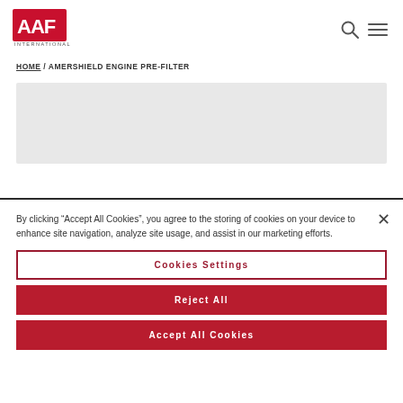[Figure (logo): AAF International red logo]
HOME / AMERSHIELD ENGINE PRE-FILTER
[Figure (photo): Product image area (light grey placeholder)]
By clicking "Accept All Cookies", you agree to the storing of cookies on your device to enhance site navigation, analyze site usage, and assist in our marketing efforts.
Cookies Settings
Reject All